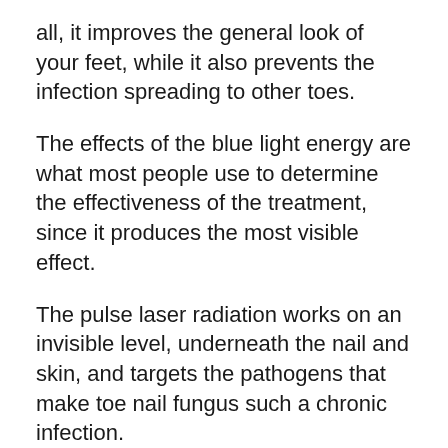all, it improves the general look of your feet, while it also prevents the infection spreading to other toes.
The effects of the blue light energy are what most people use to determine the effectiveness of the treatment, since it produces the most visible effect.
The pulse laser radiation works on an invisible level, underneath the nail and skin, and targets the pathogens that make toe nail fungus such a chronic infection.
The pulse laser is as important to the process as the blue light, since this part of the treatment eradicates the source of your infection.